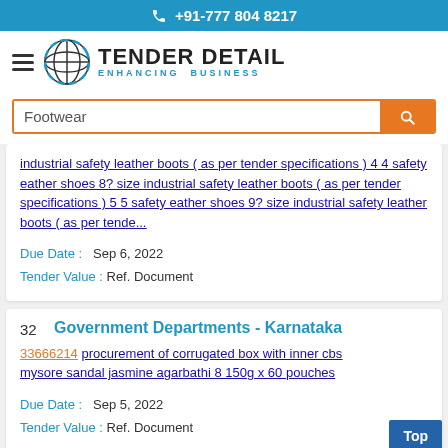+91-777 804 8217
[Figure (logo): Tender Detail - Enhancing Business logo with globe icon]
Footwear (search box)
industrial safety leather boots ( as per tender specifications ) 4 4 safety eather shoes 8? size industrial safety leather boots ( as per tender specifications ) 5 5 safety eather shoes 9? size industrial safety leather boots ( as per tende...
Due Date : Sep 6, 2022
Tender Value : Ref. Document
32 Government Departments - Karnataka
33666214 procurement of corrugated box with inner cbs mysore sandal jasmine agarbathi 8 150g x 60 pouches
Due Date : Sep 5, 2022
Tender Value : Ref. Document